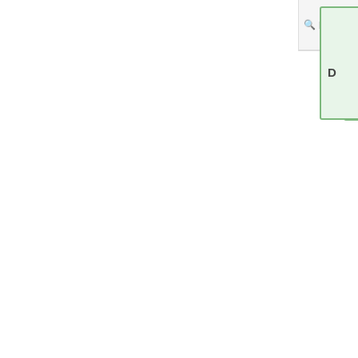[Figure (screenshot): Top navigation bar with up-arrow button, Search field, magnifier icon, 'b' label, and a green panel showing 'D']
2. In URL
3. In Username, account, to Tach
4. In Password, this ac
5. In App, being u
6. Click A
MultiEx Conso
The page: found, but Consolidat Please che